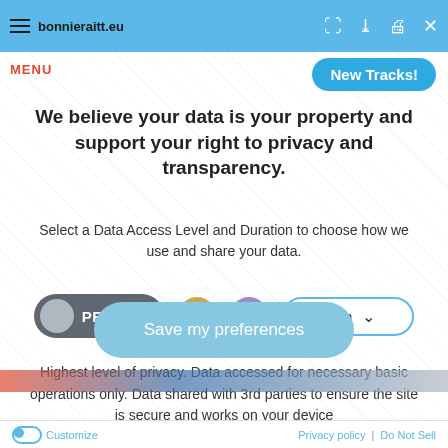bonnieraitt.eu
MENU
[Figure (other): Blue rounded button with handwritten-style text 'New Tracks!']
We believe your data is your property and support your right to privacy and transparency.
Select a Data Access Level and Duration to choose how we use and share your data.
[Figure (infographic): Privacy controls row: PRIVATE toggle pill (dark grey with grey circle), gold dot, purple dot, and '1 month' dropdown with chevron]
Highest level of privacy. Data accessed for necessary basic operations only. Data shared with 3rd parties to ensure the site is secure and works on your device
Save my preferences
Customize   Privacy policy | Do Not Sell